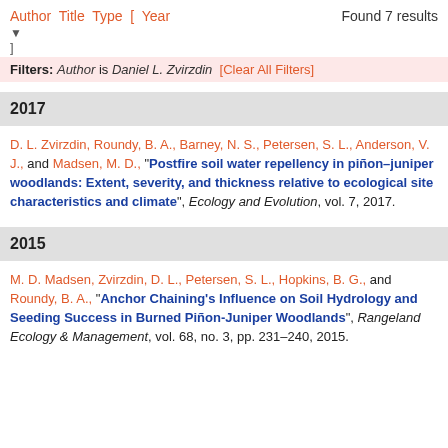Author Title Type [ Year    Found 7 results
]
Filters: Author is Daniel L. Zvirzdin  [Clear All Filters]
2017
D. L. Zvirzdin, Roundy, B. A., Barney, N. S., Petersen, S. L., Anderson, V. J., and Madsen, M. D., "Postfire soil water repellency in piñon–juniper woodlands: Extent, severity, and thickness relative to ecological site characteristics and climate", Ecology and Evolution, vol. 7, 2017.
2015
M. D. Madsen, Zvirzdin, D. L., Petersen, S. L., Hopkins, B. G., and Roundy, B. A., "Anchor Chaining's Influence on Soil Hydrology and Seeding Success in Burned Piñon-Juniper Woodlands", Rangeland Ecology & Management, vol. 68, no. 3, pp. 231–240, 2015.